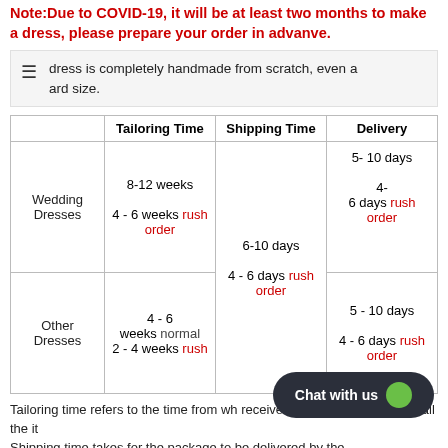Note:Due to COVID-19, it will be at least two months to make a dress, please prepare your order in advanve.
dress is completely handmade from scratch, even a ard size.
|  | Tailoring Time | Shipping Time | Delivery |
| --- | --- | --- | --- |
| Wedding Dresses | 8-12 weeks
4 - 6 weeks rush order | 6-10 days
4 - 6 days rush order | 5- 10 days
4-
6 days rush order |
| Other Dresses | 4 - 6 weeks normal
2 - 4 weeks rush | 6-10 days
4 - 6 days rush order | 5 - 10 days
4 - 6 days rush order |
Tailoring time refers to the time from wh... received to when we gather up all the it... Shipping time takes for the package to be delivered by the